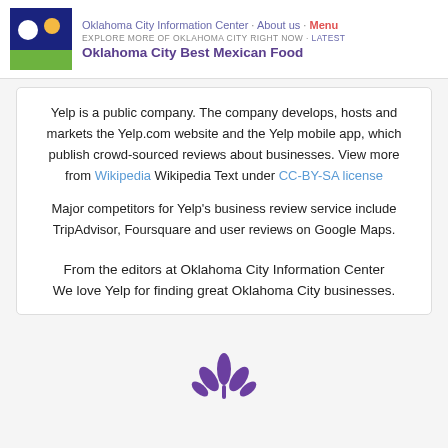Oklahoma City Information Center · About us · Menu
EXPLORE MORE OF OKLAHOMA CITY RIGHT NOW · Latest
Oklahoma City Best Mexican Food
Yelp is a public company. The company develops, hosts and markets the Yelp.com website and the Yelp mobile app, which publish crowd-sourced reviews about businesses. View more from Wikipedia Wikipedia Text under CC-BY-SA license
Major competitors for Yelp's business review service include TripAdvisor, Foursquare and user reviews on Google Maps.
From the editors at Oklahoma City Information Center
We love Yelp for finding great Oklahoma City businesses.
[Figure (logo): Purple/violet wheat or plant logo icon at bottom center of page]